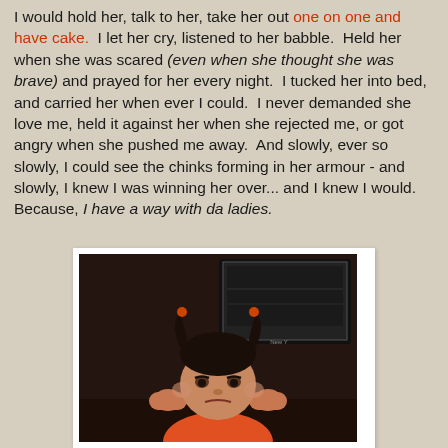I would hold her, talk to her, take her out one on one and have cake. I let her cry, listened to her babble. Held her when she was scared (even when she thought she was brave) and prayed for her every night. I tucked her into bed, and carried her when ever I could. I never demanded she love me, held it against her when she rejected me, or got angry when she pushed me away. And slowly, ever so slowly, I could see the chinks forming in her armour - and slowly, I knew I was winning her over... and I knew I would. Because, I have a way with da ladies.
[Figure (photo): A young Asian girl with two small pigtails with orange hair ties, resting her chin/cheeks on her fists, looking grumpy or pouty, wearing an orange top. She is seated at a table. Behind her is a dark background with what appears to be a television or monitor screen visible. The image is in a white photo-frame style border.]